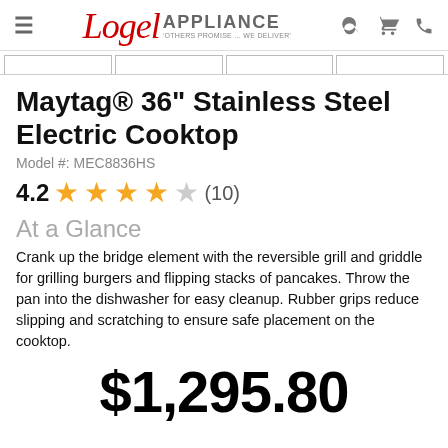Logel Appliance - 'OTHERS PROMISE... WE DELIVER'
Maytag® 36" Stainless Steel Electric Cooktop
Model #: MEC8836HS
4.2 ★★★★☆ (10)
At a Glance
Crank up the bridge element with the reversible grill and griddle for grilling burgers and flipping stacks of pancakes. Throw the pan into the dishwasher for easy cleanup. Rubber grips reduce slipping and scratching to ensure safe placement on the cooktop.
$1,295.80